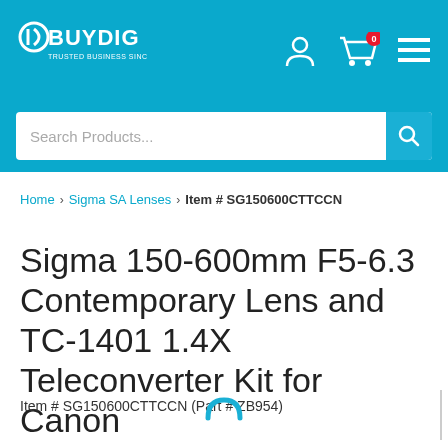BUYDIG - TRUSTED BUSINESS SINCE 1983
Search Products...
Home › Sigma SA Lenses › Item # SG150600CTTCCN
Sigma 150-600mm F5-6.3 Contemporary Lens and TC-1401 1.4X Teleconverter Kit for Canon
Item # SG150600CTTCCN (Part # ZB954)